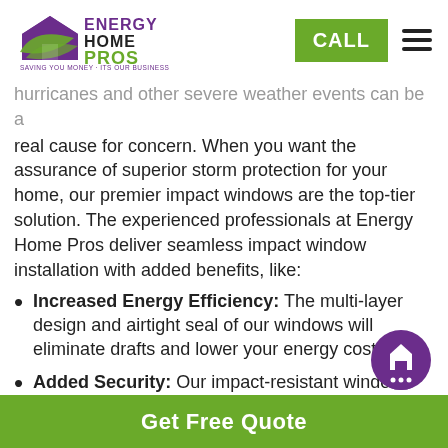Energy Home Pros — CALL | menu
hurricanes and other severe weather events can be a real cause for concern. When you want the assurance of superior storm protection for your home, our premier impact windows are the top-tier solution. The experienced professionals at Energy Home Pros deliver seamless impact window installation with added benefits, like:
Increased Energy Efficiency: The multi-layer design and airtight seal of our windows will eliminate drafts and lower your energy costs.
Added Security: Our impact-resistant windows are designed to keep out debris and water, but they also keep intruders at bay, too.
Get Free Quote